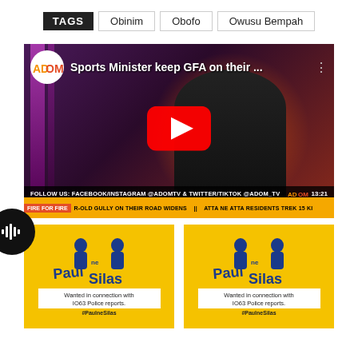TAGS  Obinim  Obofo  Owusu Bempah
[Figure (screenshot): YouTube video thumbnail showing a TV presenter on set with a football graphic. Title reads 'Sports Minister keep GFA on their ...' with ADOM TV logo. Bottom bar shows 'FOLLOW US: FACEBOOK/INSTAGRAM @ADOMTV & TWITTER/TIKTOK @ADOM_TV' with timestamp 13:21. Ticker bar at bottom reads 'FIRE FOR FIRE R-OLD GULLY ON THEIR ROAD WIDENS || ATTA NE ATTA RESIDENTS TREK 15 KI'. Red YouTube play button in center.]
[Figure (screenshot): Paul ne Silas show thumbnail on yellow background with two blue silhouette figures and text 'Wanted in connection with IO63 Police reports. #PaulneSilas']
[Figure (screenshot): Paul ne Silas show thumbnail on yellow background with two blue silhouette figures and text 'Wanted in connection with IO63 Police reports. #PaulneSilas']